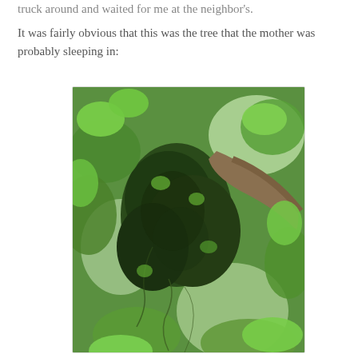truck around and waited for me at the neighbor's.
It was fairly obvious that this was the tree that the mother was probably sleeping in:
[Figure (photo): A photograph looking up into a large tree canopy, showing dense green leafy growth and a large mass of vines or ivy clustered around the trunk and branches. The photo is taken from below looking upward, with bright green leaves filling the frame and a thick brown tree branch visible in the upper right.]